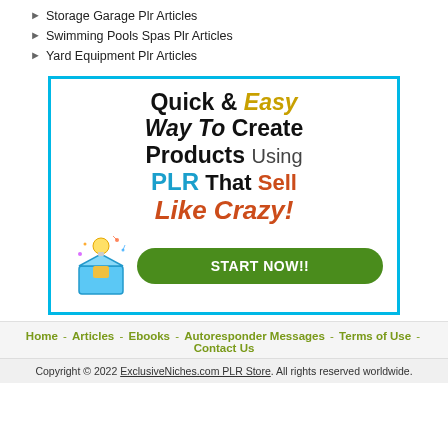Storage Garage Plr Articles
Swimming Pools Spas Plr Articles
Yard Equipment Plr Articles
[Figure (illustration): Promotional banner ad with cyan border. Text reads: Quick & Easy Way To Create Products Using PLR That Sell Like Crazy! with a START NOW!! green button and a box/lightbulb graphic.]
Home - Articles - Ebooks - Autoresponder Messages - Terms of Use - Contact Us
Copyright © 2022 ExclusiveNiches.com PLR Store. All rights reserved worldwide.